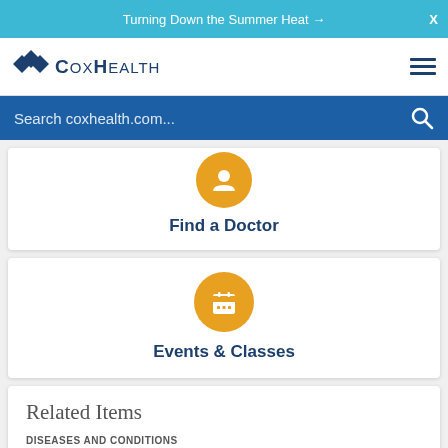Turning Down the Summer Heat →
[Figure (logo): CoxHealth logo with star/asterisk icon and hamburger menu]
Search coxhealth.com...
Find a Doctor
Events & Classes
Related Items
DISEASES AND CONDITIONS
Infections